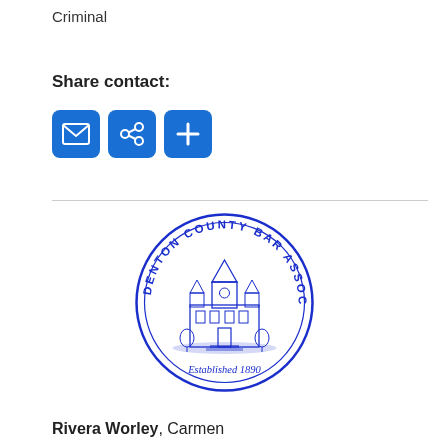Criminal
Share contact:
[Figure (logo): Denton County Bar Association circular seal with courthouse illustration, Established 1890]
Rivera Worley, Carmen